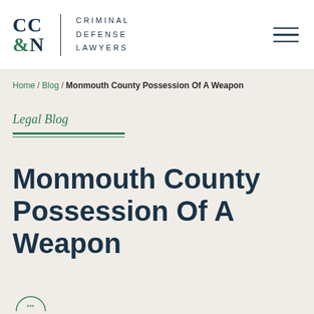[Figure (logo): CC&N Criminal Defense Lawyers logo with stylized letters and hamburger menu icon]
Home / Blog / Monmouth County Possession Of A Weapon
Legal Blog
Monmouth County Possession Of A Weapon
[Figure (other): Partial circular badge/seal at bottom left, partially visible]